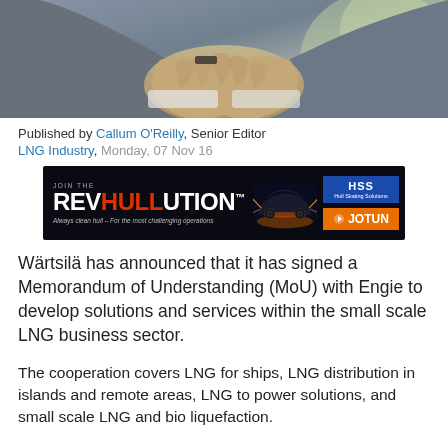[Figure (photo): Close-up photo of two people shaking hands, in business attire, with blurred background]
Published by Callum O'Reilly, Senior Editor
LNG Industry, Monday, 07 Nov 16
[Figure (other): REVHULLUTION advertisement banner by Jotun and HSS Hull Skating Solutions]
Wärtsilä has announced that it has signed a Memorandum of Understanding (MoU) with Engie to develop solutions and services within the small scale LNG business sector.
The cooperation covers LNG for ships, LNG distribution in islands and remote areas, LNG to power solutions, and small scale LNG and bio liquefaction.